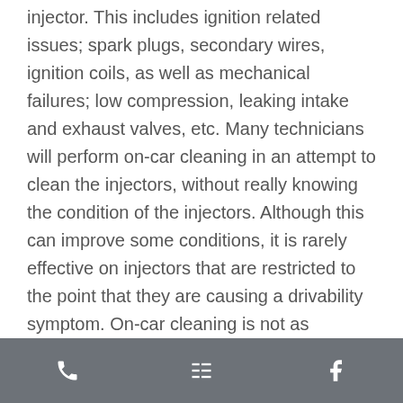injector. This includes ignition related issues; spark plugs, secondary wires, ignition coils, as well as mechanical failures; low compression, leaking intake and exhaust valves, etc. Many technicians will perform on-car cleaning in an attempt to clean the injectors, without really knowing the condition of the injectors. Although this can improve some conditions, it is rarely effective on injectors that are restricted to the point that they are causing a drivability symptom. On-car cleaning is not as effective as the marketing hype would lead you to believe. Refer to our article on on-car versus off-car cleaning techniques for a
[toolbar with phone, menu, and facebook icons]